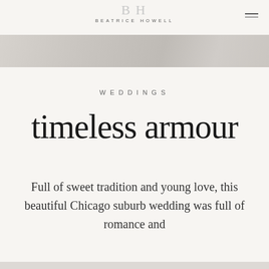BH BEATRICE HOWELL
[Figure (photo): Light grey/beige hero photo strip showing soft blurred background, likely stationery or fabric]
WEDDINGS
timeless armour
Full of sweet tradition and young love, this beautiful Chicago suburb wedding was full of romance and